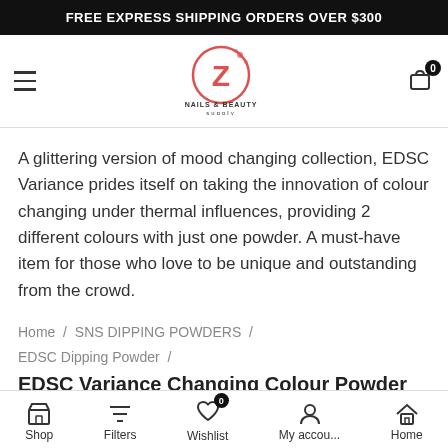FREE EXPRESS SHIPPING ORDERS OVER $300
[Figure (logo): Z Nails & Beauty Supply circular logo with red Z and floral accents, text NAILS & BEAUTY SUPPLY below]
A glittering version of mood changing collection, EDSC Variance prides itself on taking the innovation of colour changing under thermal influences, providing 2 different colours with just one powder. A must-have item for those who love to be unique and outstanding from the crowd.
Home / SNS DIPPING POWDERS / EDSC Dipping Powder /
EDSC Variance Changing Colour Powder
Showing all 12 results
Shop  Filters  Wishlist  My accou...  Home